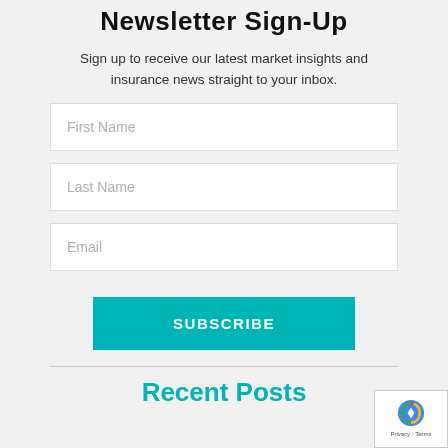Newsletter Sign-Up
Sign up to receive our latest market insights and insurance news straight to your inbox.
First Name
Last Name
Email
SUBSCRIBE
Recent Posts